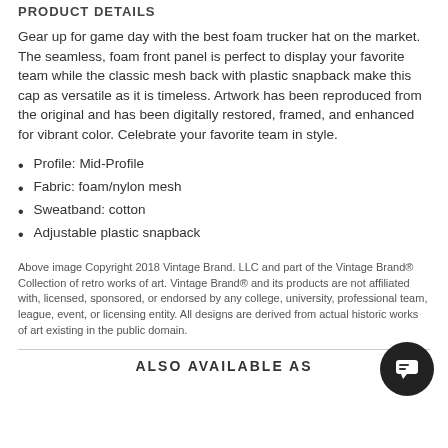PRODUCT DETAILS
Gear up for game day with the best foam trucker hat on the market. The seamless, foam front panel is perfect to display your favorite team while the classic mesh back with plastic snapback make this cap as versatile as it is timeless. Artwork has been reproduced from the original and has been digitally restored, framed, and enhanced for vibrant color. Celebrate your favorite team in style.
Profile: Mid-Profile
Fabric: foam/nylon mesh
Sweatband: cotton
Adjustable plastic snapback
Above image Copyright 2018 Vintage Brand. LLC and part of the Vintage Brand® Collection of retro works of art. Vintage Brand® and its products are not affiliated with, licensed, sponsored, or endorsed by any college, university, professional team, league, event, or licensing entity. All designs are derived from actual historic works of art existing in the public domain.
ALSO AVAILABLE AS